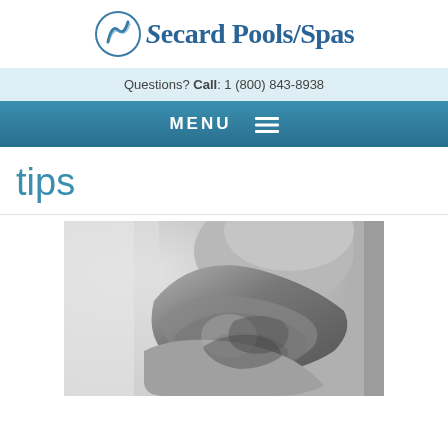Secard Pools/Spas
Questions? Call: 1 (800) 843-8938
MENU ☰
tips
[Figure (photo): Black and white close-up photograph of a person with their head resting on their arm, hair visible in foreground, blurred background]